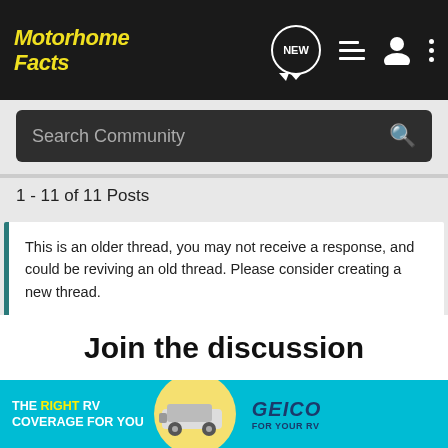Motorhome Facts
Search Community
1 - 11 of 11 Posts
This is an older thread, you may not receive a response, and could be reviving an old thread. Please consider creating a new thread.
Join the discussion
Continue with Facebook
Continue with Google
[Figure (infographic): GEICO RV insurance advertisement banner: 'THE RIGHT RV COVERAGE FOR YOU' with an RV image and GEICO FOR YOUR RV logo]